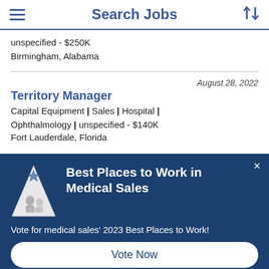Search Jobs
unspecified - $250K
Birmingham, Alabama
August 28, 2022
Territory Manager
Capital Equipment | Sales | Hospital | Ophthalmology | unspecified - $140K
Fort Lauderdale, Florida
[Figure (infographic): Best Places to Work in Medical Sales modal overlay with trophy/award triangle illustration, close button, vote prompt text, and Vote Now button]
Best Places to Work in Medical Sales
Vote for medical sales' 2023 Best Places to Work!
Vote Now